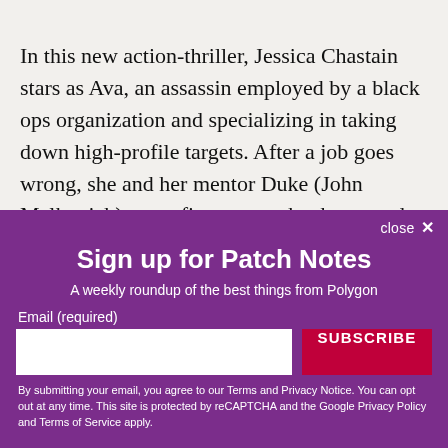In this new action-thriller, Jessica Chastain stars as Ava, an assassin employed by a black ops organization and specializing in taking down high-profile targets. After a job goes wrong, she and her mentor Duke (John Malkovich) try to figure out what happened. However, unfortunate incidents keep on
close ✕
Sign up for Patch Notes
A weekly roundup of the best things from Polygon
Email (required)
SUBSCRIBE
By submitting your email, you agree to our Terms and Privacy Notice. You can opt out at any time. This site is protected by reCAPTCHA and the Google Privacy Policy and Terms of Service apply.